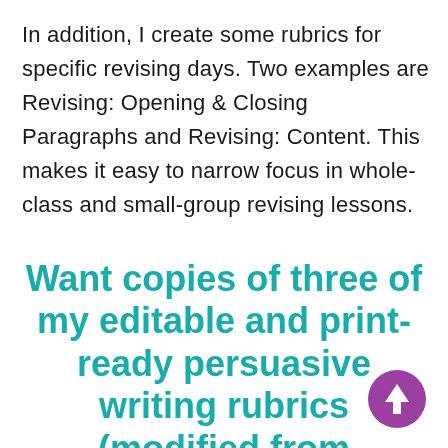In addition, I create some rubrics for specific revising days. Two examples are Revising: Opening & Closing Paragraphs and Revising: Content. This makes it easy to narrow focus in whole-class and small-group revising lessons.
Want copies of three of my editable and print-ready persuasive writing rubrics (modified from